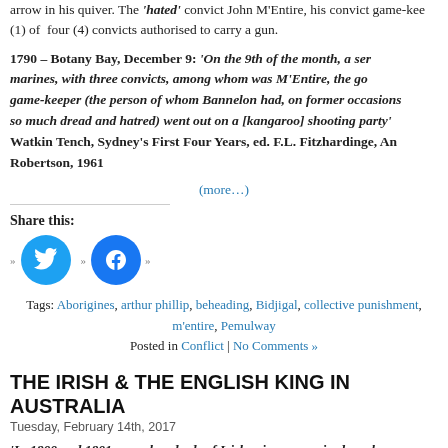arrow in his quiver. The 'hated' convict John M'Entire, his convict game-keeper, (1) of four (4) convicts authorised to carry a gun.
1790 – Botany Bay, December 9: 'On the 9th of the month, a ser marines, with three convicts, among whom was M'Entire, the go game-keeper (the person of whom Bannelon had, on former occasions so much dread and hatred) went out on a [kangaroo] shooting party' Watkin Tench, Sydney's First Four Years, ed. F.L. Fitzhardinge, An Robertson, 1961
(more…)
Share this:
[Figure (other): Twitter and Facebook share buttons]
Tags: Aborigines, arthur phillip, beheading, Bidjigal, collective punishment, m'entire, Pemulway
Posted in Conflict | No Comments »
THE IRISH & THE ENGLISH KING IN AUSTRALIA
Tuesday, February 14th, 2017
'In 1800 and 1801 many hundreds of Irish prisoners arrived, push